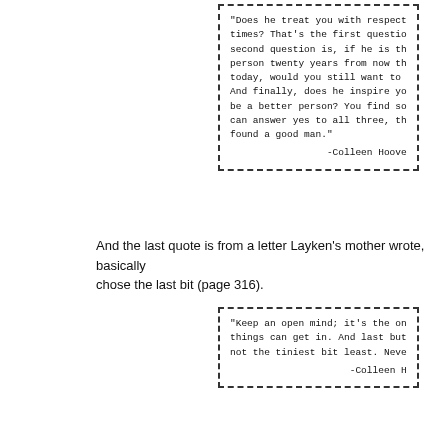[Figure (other): Dashed-border quote box with Colleen Hoover quote about treating with respect]
And the last quote is from a letter Layken's mother wrote, basically chose the last bit (page 316).
[Figure (other): Dashed-border quote box with Colleen Hoover quote about keeping an open mind]
🔲🔲!!
🔲🔲
Share via Facebook
SHARE: FACEBOOK | TWITTER | PINTEREST
SUZIE AT 5:42 PM NO COMMENTS:
SHARE